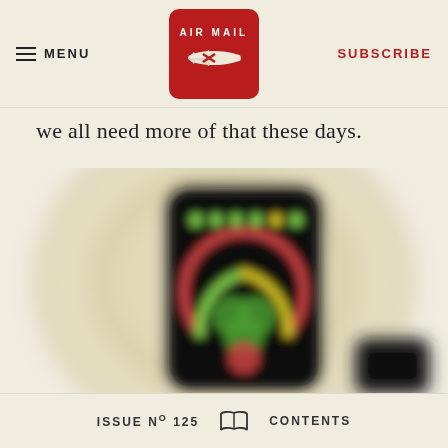≡ MENU | AIR MAIL | SUBSCRIBE
we all need more of that these days.
[Figure (photo): Blurred close-up photo of a smartwatch/device screen showing green and red circular indicators on a black display, with a blurred white radial background and a smaller dark wearable device in the lower right corner.]
ISSUE No 125  [book icon]  CONTENTS